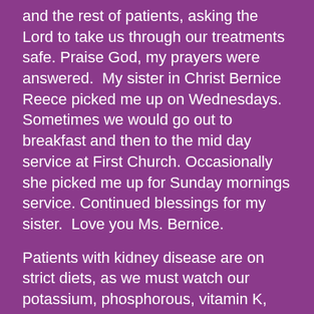and the rest of patients, asking the Lord to take us through our treatments safe. Praise God, my prayers were answered.  My sister in Christ Bernice Reece picked me up on Wednesdays. Sometimes we would go out to breakfast and then to the mid day service at First Church. Occasionally she picked me up for Sunday mornings service. Continued blessings for my sister.  Love you Ms. Bernice.
Patients with kidney disease are on strict diets, as we must watch our potassium, phosphorous, vitamin K, fluid intake and take our medications. I thank God, that He was with me and lead me to follow instructions from the professionals. I was allowed 32 ozs fluid per day, includes water, vegetables and condiments.